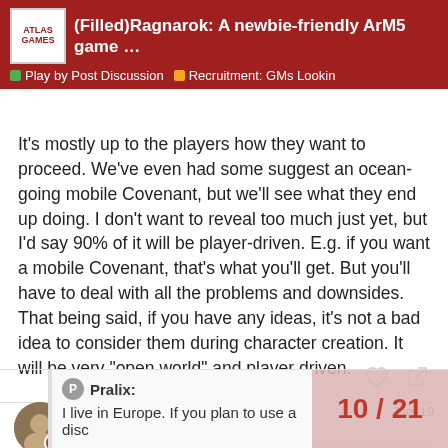(Filled)Ragnarok: A newbie-friendly ArM5 game ... | Play by Post Discussion | Recruitment: GMs Lookin
It's mostly up to the players how they want to proceed. We've even had some suggest an ocean-going mobile Covenant, but we'll see what they end up doing. I don't want to reveal too much just yet, but I'd say 90% of it will be player-driven. E.g. if you want a mobile Covenant, that's what you'll get. But you'll have to deal with all the problems and downsides. That being said, if you have any ideas, it's not a bad idea to consider them during character creation. It will be very "open world" and player driven.
skywyze
PbP GM
Jan '19
Pralix:
I live in Europe. If you plan to use a disc